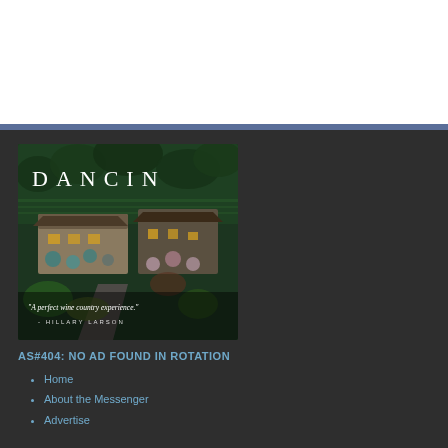[Figure (photo): DANCIN winery aerial photo advertisement with text 'A perfect wine country experience.' - HILLARY LARSON]
AS#404: NO AD FOUND IN ROTATION
Home
About the Messenger
Advertise